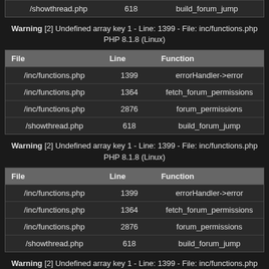| File | Line | Function |
| --- | --- | --- |
| /showthread.php | 618 | build_forum_jump |
Warning [2] Undefined array key 1 - Line: 1399 - File: inc/functions.php PHP 8.1.8 (Linux)
| File | Line | Function |
| --- | --- | --- |
| /inc/functions.php | 1399 | errorHandler->error |
| /inc/functions.php | 1364 | fetch_forum_permissions |
| /inc/functions.php | 2876 | forum_permissions |
| /showthread.php | 618 | build_forum_jump |
Warning [2] Undefined array key 1 - Line: 1399 - File: inc/functions.php PHP 8.1.8 (Linux)
| File | Line | Function |
| --- | --- | --- |
| /inc/functions.php | 1399 | errorHandler->error |
| /inc/functions.php | 1364 | fetch_forum_permissions |
| /inc/functions.php | 2876 | forum_permissions |
| /showthread.php | 618 | build_forum_jump |
Warning [2] Undefined array key 1 - Line: 1399 - File: inc/functions.php PHP 8.1.8 (Linux)
| File | Line | Function |
| --- | --- | --- |